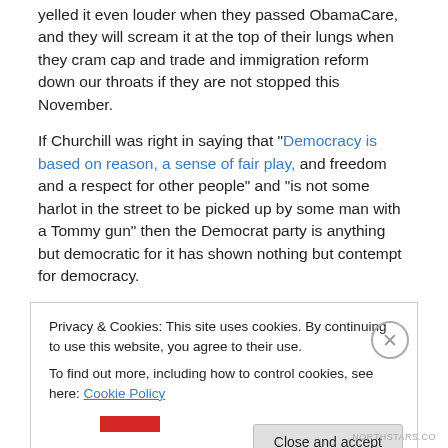yelled it even louder when they passed ObamaCare, and they will scream it at the top of their lungs when they cram cap and trade and immigration reform down our throats if they are not stopped this November.
If Churchill was right in saying that "Democracy is based on reason, a sense of fair play, and freedom and a respect for other people" and "is not some harlot in the street to be picked up by some man with a Tommy gun" then the Democrat party is anything but democratic for it has shown nothing but contempt for democracy.
Privacy & Cookies: This site uses cookies. By continuing to use this website, you agree to their use. To find out more, including how to control cookies, see here: Cookie Policy